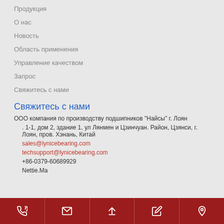Продукция
О нас
Новость
Область применения
Управление качеством
Запрос
Свяжитесь с нами
Свяжитесь с нами
ООО компания по производству подшипников "Найсы" г. Лоян
. 1-1, дом 2, здание 1, ул Лянмен и Цзинчуан. Район, Цзянси, г. Лоян, пров. Хэнань, Китай
sales@lynicebearing.com
techsupport@lynicebearing.com
+86-0379-60689929
Nettie.Ma
[icons: phone, email, up, edit, location]